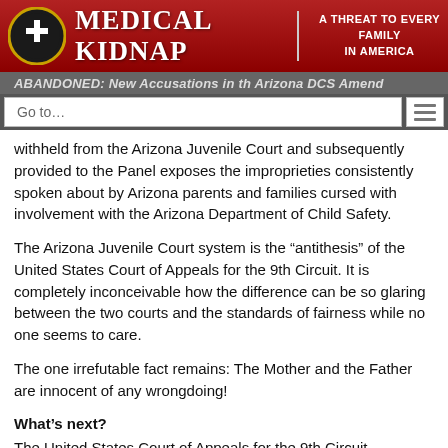MEDICAL KIDNAP | A THREAT TO EVERY FAMILY IN AMERICA
withheld from the Arizona Juvenile Court and subsequently provided to the Panel exposes the improprieties consistently spoken about by Arizona parents and families cursed with involvement with the Arizona Department of Child Safety.
The Arizona Juvenile Court system is the “antithesis” of the United States Court of Appeals for the 9th Circuit. It is completely inconceivable how the difference can be so glaring between the two courts and the standards of fairness while no one seems to care.
The one irrefutable fact remains: The Mother and the Father are innocent of any wrongdoing!
What’s next?
The United States Court of Appeals for the 9th Circuit